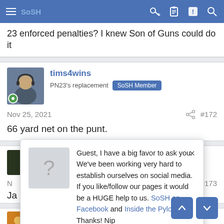SoSH [nav bar with hamburger menu, key icon, clipboard icon, alert icon, search icon]
23 enforced penalties? I knew Son of Guns could do it
tims4wins
PN23's replacement  SoSH Member
Nov 25, 2021   #172
66 yard net on the punt.
JohnnyTheBone
#173
Ja
[Figure (screenshot): Popup dialog: Guest, I have a big favor to ask you. We've been working very hard to establish ourselves on social media. If you like/follow our pages it would be a HUGE help to us. SoSH on Facebook and Inside the Pylon Thanks! Nip]
CoffeeNerdness